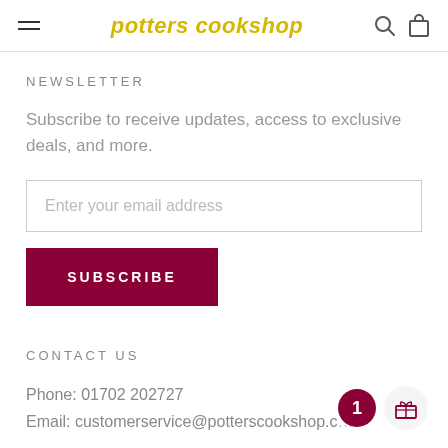potters cookshop
NEWSLETTER
Subscribe to receive updates, access to exclusive deals, and more.
Enter your email address
SUBSCRIBE
CONTACT US
Phone: 01702 202727
Email: customerservice@potterscookshop.c...